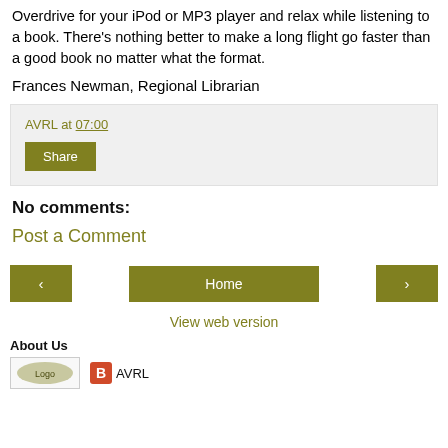Overdrive for your iPod or MP3 player and relax while listening to a book. There's nothing better to make a long flight go faster than a good book no matter what the format.
Frances Newman, Regional Librarian
AVRL at 07:00
Share
No comments:
Post a Comment
< Home >
View web version
About Us
[Figure (logo): Library logo and AVRL blogger logo]